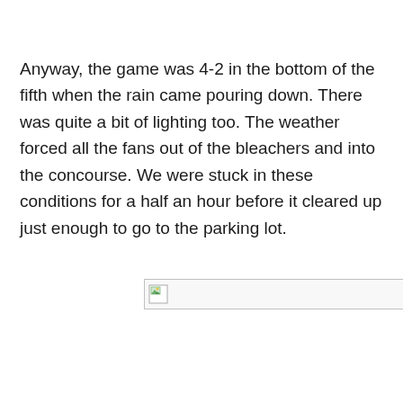Anyway, the game was 4-2 in the bottom of the fifth when the rain came pouring down. There was quite a bit of lighting too. The weather forced all the fans out of the bleachers and into the concourse. We were stuck in these conditions for a half an hour before it cleared up just enough to go to the parking lot.
[Figure (other): Broken image placeholder icon with a small landscape thumbnail icon in the top-left corner of a wide rectangular border box.]